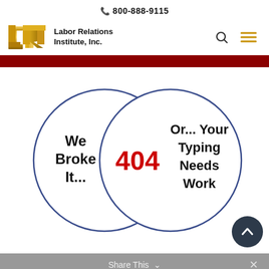📞 800-888-9115
[Figure (logo): Labor Relations Institute, Inc. logo with golden LRI letters and search/menu icons]
[Figure (infographic): Venn diagram with two overlapping circles. Left circle: 'We Broke It...' Right circle: 'Or... Your Typing Needs Work' Overlap center: '404' in red bold text.]
Share This ∨  ✕